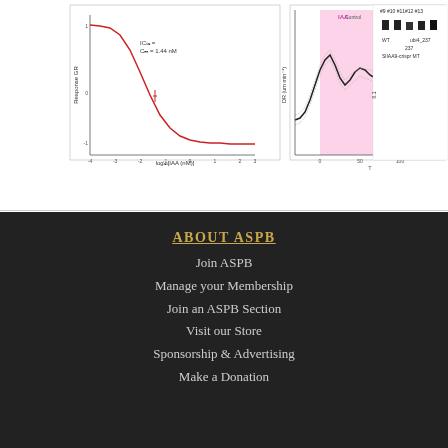[Figure (continuous-plot): Partial view of scientific figures showing: left panel - a dose-response curve with red sigmoid line on white background labeled with IC50 = 1.44 nM and log10[IAA (nM)] on x-axis and Response GR on y-axis; middle panel - a line graph with pink/magenta highlighted region labeled IAA and Control showing DR (um min-1) over time (T); right panel - a bar/strip chart showing data points for WT and ubi4_237 SlIAA9-crispr MT groups with lanes #9 #10 #11 #12 #13]
ABOUT ASPB
Join ASPB
Manage your Membership
Join an ASPB Section
Visit our Store
Sponsorship & Advertising
Make a Donation